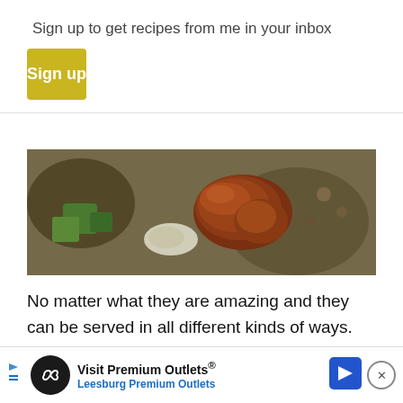Sign up to get recipes from me in your inbox
Sign up
[Figure (photo): Close-up food photo showing cooked meat pieces (appears glazed/braised) with green vegetable chunks on a dark baking sheet or pan surface]
No matter what they are amazing and they can be served in all different kinds of ways. Like as-is for lunch, or served on top of an arugula salad (like I had for dinner last night when Pete was out of town). Or Served cut in half like this for appetizers. Or heaven help me, served with a runny poached egg for breakfast or brunch (like I bet your momma would freak out if you brought her some of this in bed next weeke
Visit Premium Outlets® Leesburg Premium Outlets